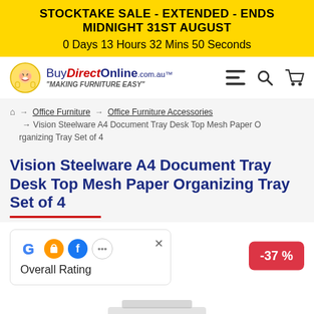STOCKTAKE SALE - EXTENDED - ENDS MIDNIGHT 31ST AUGUST
0 Days 13 Hours 32 Mins 50 Seconds
[Figure (logo): BuyDirectOnline.com.au logo with cartoon mascot and tagline 'MAKING FURNITURE EASY']
Office Furniture → Office Furniture Accessories → Vision Steelware A4 Document Tray Desk Top Mesh Paper Organizing Tray Set of 4
Vision Steelware A4 Document Tray Desk Top Mesh Paper Organizing Tray Set of 4
[Figure (infographic): Overall Rating widget showing Google, shopping bag, Facebook and dots icons with a close (X) button, and a red discount badge showing -37 %]